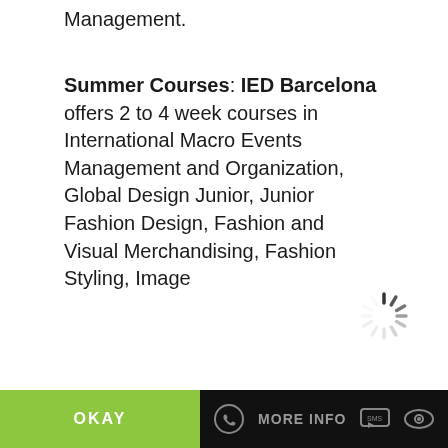Management.
Summer Courses: IED Barcelona offers 2 to 4 week courses in International Macro Events Management and Organization, Global Design Junior, Junior Fashion Design, Fashion and Visual Merchandising, Fashion Styling, Image
[Figure (other): Loading spinner icon (rotating dashes circle)]
Consultant and Personal Shopper, Community ...
This website uses own and third party cookies to improve your experience and our services, analyzing your navigation. If you continue browsing or click on the "Accept" button, you accept their use. You can prevent its installation, although it may cause navigation difficulties.
OKAY
MORE INFO